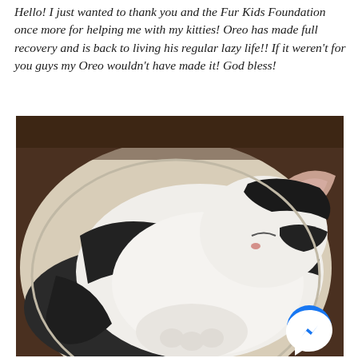Hello! I just wanted to thank you and the Fur Kids Foundation once more for helping me with my kitties! Oreo has made full recovery and is back to living his regular lazy life!! If it weren't for you guys my Oreo wouldn't have made it! God bless!
[Figure (photo): A black and white tuxedo cat curled up and sleeping peacefully on a light-colored cushion or cat bed. The cat is mostly white with black patches, eyes closed, tucked into a round sleeping position. A blue Facebook Messenger icon is visible in the lower right corner of the photo.]